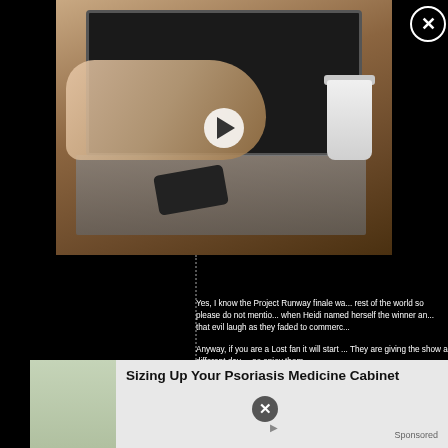[Figure (photo): Person typing on a laptop on a wooden desk with a coffee cup and smartphone visible. Video thumbnail with play button overlay.]
Yes, I know the Project Runway finale wa... rest of the world so please do not mentio... when Heidi named herself the winner an... that evil laugh as they faded to commerc...
Anyway, if you are a Lost fan it will start ... They are giving the show a different day ... so enjoy them.
Also probably finishing out the string is H... someone to watch it. This past Monday i... back for another year. The first year was... recovered. I know Trauma was canceled... so NBC o...
[Figure (photo): Advertisement banner showing a woman in a grocery store pharmacy aisle.]
Sizing Up Your Psoriasis Medicine Cabinet
Sponsored